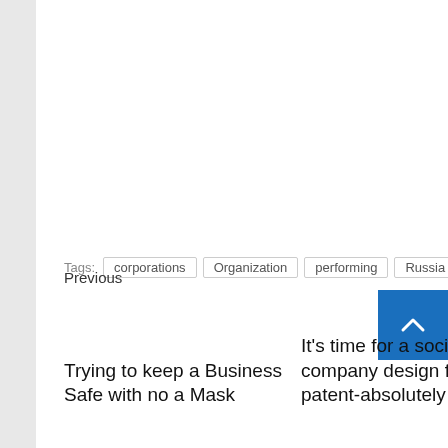Tags: corporations  Organization  performing  Russia
Previous
Trying to keep a Business Safe with no a Mask
It's time for a social company design for patent-absolutely